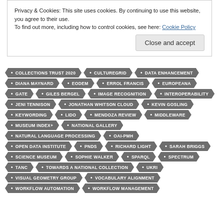Privacy & Cookies: This site uses cookies. By continuing to use this website, you agree to their use.
To find out more, including how to control cookies, see here: Cookie Policy
Close and accept
COLLECTIONS TRUST 2020
CULTUREGRID
DATA ENHANCEMENT
DIANA MAYNARD
EODEM
ERROL FRANCIS
EUROPEANA
GATE
GILES BERGEL
IMAGE RECOGNITION
INTEROPERABILITY
JENI TENNISON
JONATHAN WHITSON CLOUD
KEVIN GOSLING
KEYWORDING
LIDO
MENDOZA REVIEW
MIDDLEWARE
MUSEUM INDEX+
NATIONAL GALLERY
NATURAL LANGUAGE PROCESSING
OAI-PMH
OPEN DATA INSTITUTE
PNDS
RICHARD LIGHT
SARAH BRIGGS
SCIENCE MUSEUM
SOPHIE WALKER
SPARQL
SPECTRUM
TANC
TOWARDS A NATIONAL COLLECTION
UKRI
VISUAL GEOMETRY GROUP
VOCABULARY ALIGNMENT
WORKFLOW AUTOMATION
WORKFLOW MANAGEMENT